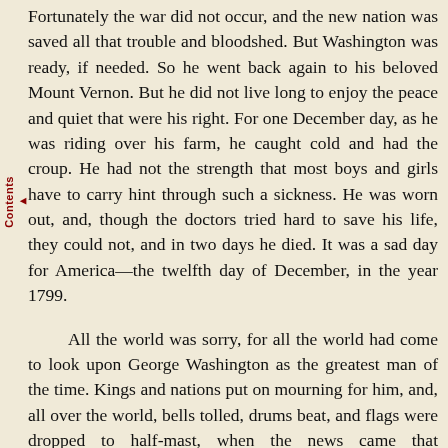Fortunately the war did not occur, and the new nation was saved all that trouble and bloodshed. But Washington was ready, if needed. So he went back again to his beloved Mount Vernon. But he did not live long to enjoy the peace and quiet that were his right. For one December day, as he was riding over his farm, he caught cold and had the croup. He had not the strength that most boys and girls have to carry hint through such a sickness. He was worn out, and, though the doctors tried hard to save his life, they could not, and in two days he died. It was a sad day for America—the twelfth day of December, in the year 1799.

All the world was sorry, for all the world had come to look upon George Washington as the greatest man of the time. Kings and nations put on mourning for him, and, all over the world, bells tolled, drums beat, and flags were dropped to half-mast, when the news came that Washington was dead.